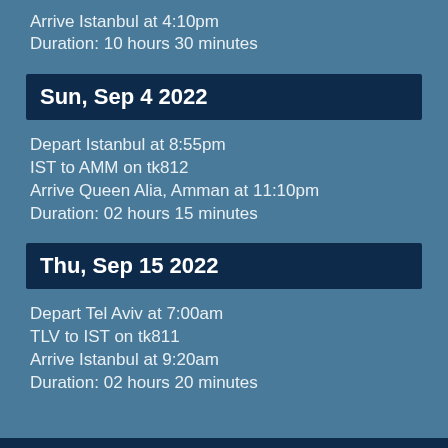Arrive Istanbul at 4:10pm
Duration: 10 hours 30 minutes
Sun, Sep 4 2022
Depart Istanbul at 8:55pm
IST to AMM on tk812
Arrive Queen Alia, Amman at 11:10pm
Duration: 02 hours 15 minutes
Thu, Sep 15 2022
Depart Tel Aviv at 7:00am
TLV to IST on tk811
Arrive Istanbul at 9:20am
Duration: 02 hours 20 minutes